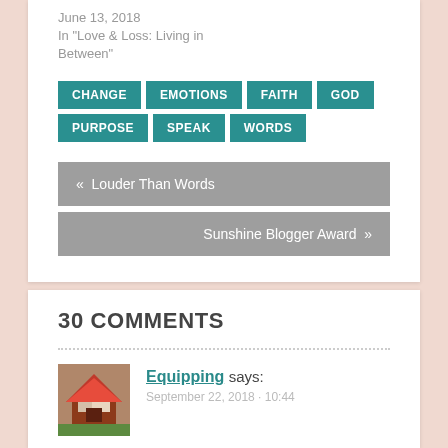June 13, 2018
In "Love & Loss: Living in Between"
CHANGE
EMOTIONS
FAITH
GOD
PURPOSE
SPEAK
WORDS
« Louder Than Words
Sunshine Blogger Award »
30 COMMENTS
Equipping says: